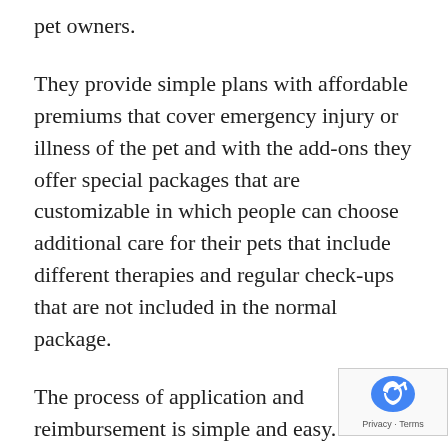pet owners.
They provide simple plans with affordable premiums that cover emergency injury or illness of the pet and with the add-ons they offer special packages that are customizable in which people can choose additional care for their pets that include different therapies and regular check-ups that are not included in the normal package.
The process of application and reimbursement is simple and easy. With an online process, you can apply from the comfort of your home by simply entering the relevant information about your your pet. With these easy steps, you can enroll